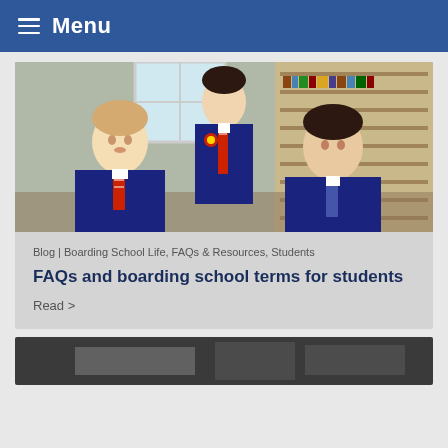Menu
[Figure (photo): Three male students in navy blazers with red ties seated/standing in a school library setting]
Blog | Boarding School Life, FAQs & Resources, Students
FAQs and boarding school terms for students
Read >
[Figure (photo): Partial view of a second article card with a dark image, cropped at bottom of page]